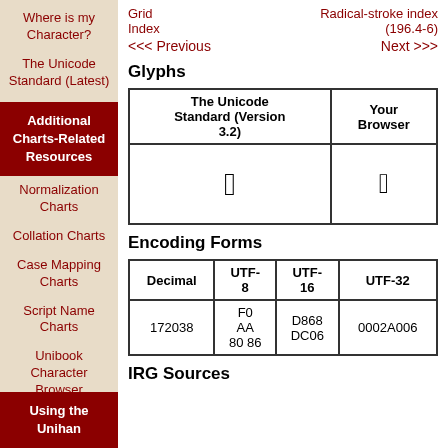Where is my Character?
The Unicode Standard (Latest)
Additional Charts-Related Resources
Normalization Charts
Collation Charts
Case Mapping Charts
Script Name Charts
Unibook Character Browser
Using the Unihan
Grid Index    Radical-stroke index (196.4-6)
<<< Previous    Next >>>
Glyphs
| The Unicode Standard (Version 3.2) | Your Browser |
| --- | --- |
| 仨鸟 (glyph) | □ |
Encoding Forms
| Decimal | UTF-8 | UTF-16 | UTF-32 |
| --- | --- | --- | --- |
| 172038 | F0 AA 80 86 | D868 DC06 | 0002A006 |
IRG Sources